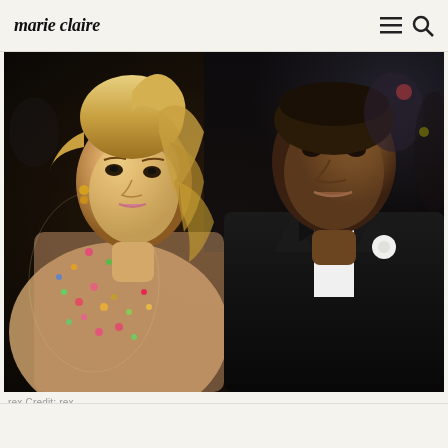marie claire
[Figure (photo): Beyoncé and Jay-Z posing together at a formal event. Beyoncé on the left wearing a jewel-encrusted sheer gown with colorful gemstone embellishments, with long blonde wavy hair in a high ponytail. Jay-Z on the right wearing a black tuxedo with bow tie and white rose boutonnière.]
rex Credit: rex